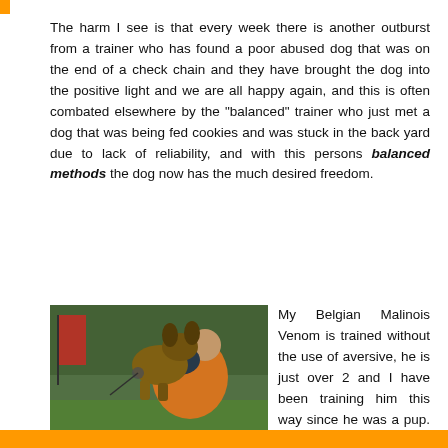The harm I see is that every week there is another outburst from a trainer who has found a poor abused dog that was on the end of a check chain and they have brought the dog into the positive light and we are all happy again, and this is often combated elsewhere by the “balanced” trainer who just met a dog that was being fed cookies and was stuck in the back yard due to lack of reliability, and with this persons balanced methods the dog now has the much desired freedom.
[Figure (photo): A person in an orange jacket bending over with a Belgian Malinois dog jumping up and biting at them during training, outdoors on grass with trees and a red flag in the background.]
My Belgian Malinois Venom is trained without the use of aversive, he is just over 2 and I have been training him this way since he was a pup. He has enormous drive and I feel confident to say that I am very good at using